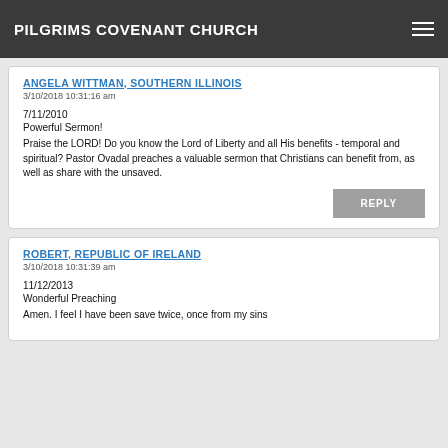PILGRIMS COVENANT CHURCH
ANGELA WITTMAN, SOUTHERN ILLINOIS
3/10/2018 10:31:16 am
7/11/2010
Powerful Sermon!
Praise the LORD! Do you know the Lord of Liberty and all His benefits - temporal and spiritual? Pastor Ovadal preaches a valuable sermon that Christians can benefit from, as well as share with the unsaved.
REPLY
ROBERT, REPUBLIC OF IRELAND
3/10/2018 10:31:39 am
11/12/2013
Wonderful Preaching
Amen. I feel I have been save twice, once from my sins